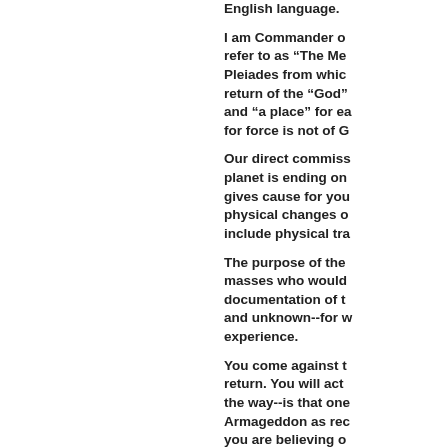English language.
I am Commander o... refer to as “The Me... Pleiades from whic... return of the “God”... and “a place” for ea... for force is not of G...
Our direct commiss... planet is ending on... gives cause for you... physical changes o... include physical tra...
The purpose of the... masses who would... documentation of t... and unknown--for w... experience.
You come against t... return. You will act... the way--is that one... Armageddon as rec... you are believing o... us, the Hosts, to ba... the situation as it is...